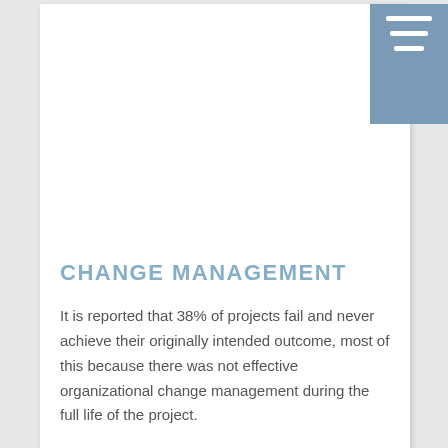[Figure (other): Navigation hamburger menu icon — three white horizontal lines on a steel-blue square background, positioned in the top-right corner of the page.]
CHANGE MANAGEMENT
It is reported that 38% of projects fail and never achieve their originally intended outcome, most of this because there was not effective organizational change management during the full life of the project.